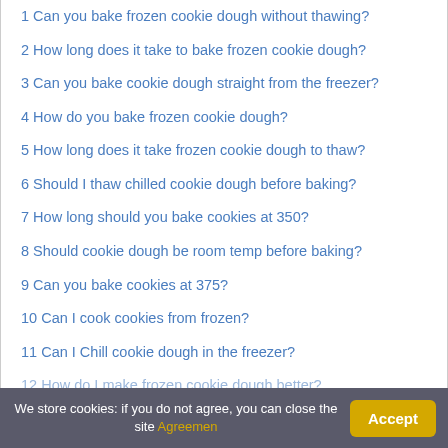1 Can you bake frozen cookie dough without thawing?
2 How long does it take to bake frozen cookie dough?
3 Can you bake cookie dough straight from the freezer?
4 How do you bake frozen cookie dough?
5 How long does it take frozen cookie dough to thaw?
6 Should I thaw chilled cookie dough before baking?
7 How long should you bake cookies at 350?
8 Should cookie dough be room temp before baking?
9 Can you bake cookies at 375?
10 Can I cook cookies from frozen?
11 Can I Chill cookie dough in the freezer?
12 How do I make frozen cookie dough better?
We store cookies: if you do not agree, you can close the site Agreemen